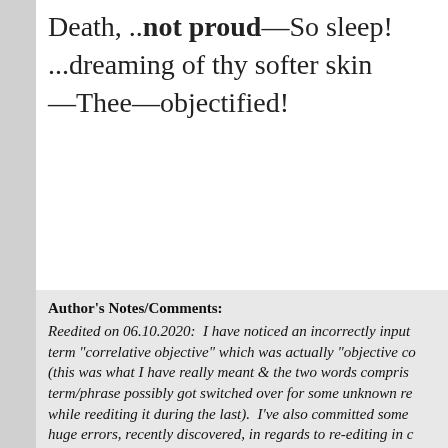Death, ..not proud—So sleep! ...dreaming of thy softer skin —Thee—objectified!
Author's Notes/Comments:
Reedited on 06.10.2020:  I have noticed an incorrectly input term "correlative objective" which was actually "objective co (this was what I have really meant & the two words compris term/phrase possibly got switched over for some unknown re while reediting it during the last).  I've also committed some huge errors, recently discovered, in regards to re-editing in c instance where a huge part of the Author's Notes/Comments deleted, with just the remainder of it showing when discov